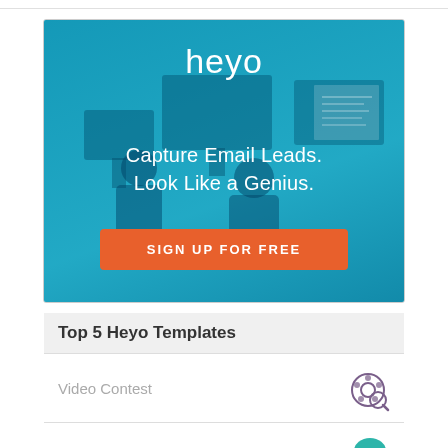[Figure (illustration): Heyo advertisement banner with teal background showing office workers at computers. Contains logo 'heyo', tagline 'Capture Email Leads. Look Like a Genius.' and an orange 'SIGN UP FOR FREE' button.]
Top 5 Heyo Templates
Video Contest
Refer a Friend